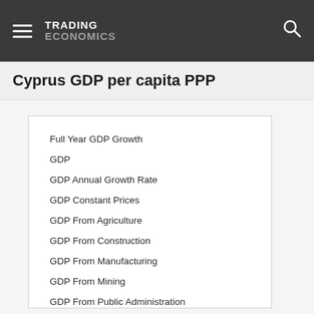TRADING ECONOMICS
Cyprus GDP per capita PPP
Full Year GDP Growth
GDP
GDP Annual Growth Rate
GDP Constant Prices
GDP From Agriculture
GDP From Construction
GDP From Manufacturing
GDP From Mining
GDP From Public Administration
GDP From Services
GDP Growth Rate
GDP Per Capita
GDP Per Capita PPP
Gross Fixed Capital Formation
Gross National Product